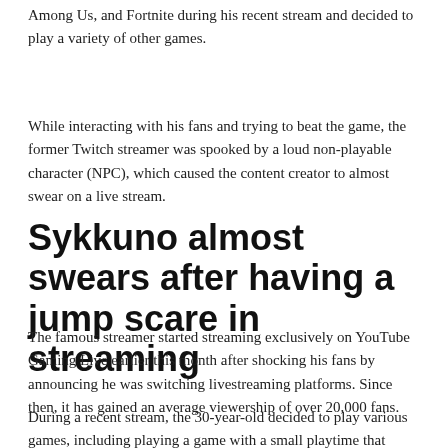Among Us, and Fortnite during his recent stream and decided to play a variety of other games.
While interacting with his fans and trying to beat the game, the former Twitch streamer was spooked by a loud non-playable character (NPC), which caused the content creator to almost swear on a live stream.
Sykkuno almost swears after having a jump scare in streaming
The famous streamer started streaming exclusively on YouTube Gaming Live earlier this month after shocking his fans by announcing he was switching livestreaming platforms. Since then, it has gained an average viewership of over 20,000 fans.
During a recent stream, the 30-year-old decided to play various games, including playing a game with a small playtime that could be